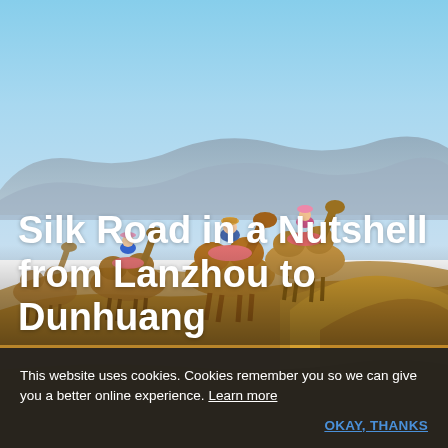[Figure (photo): Tourists riding Bactrian camels across golden sand dunes with mountain range in the background under a blue sky, desert landscape in Dunhuang, China (Silk Road)]
Silk Road in a Nutshell from Lanzhou to Dunhuang
This website uses cookies. Cookies remember you so we can give you a better online experience. Learn more
OKAY, THANKS